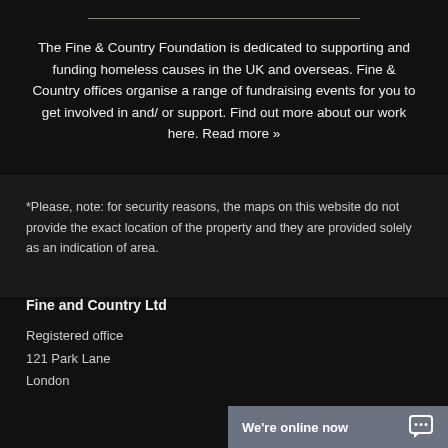The Fine & Country Foundation is dedicated to supporting and funding homeless causes in the UK and overseas. Fine & Country offices organise a range of fundraising events for you to get involved in and/ or support. Find out more about our work here. Read more »
*Please, note: for security reasons, the maps on this website do not provide the exact location of the property and they are provided solely as an indication of area.
Fine and Country Ltd
Registered office
121 Park Lane
London